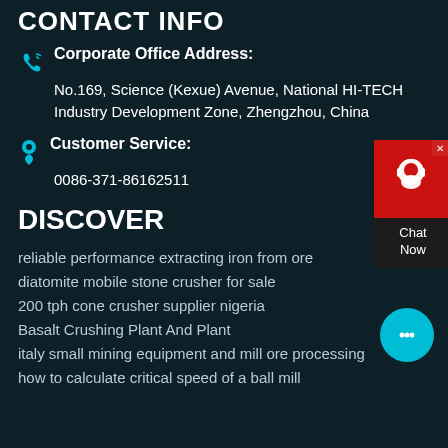CONTACT INFO
Corporate Office Address:
No.169, Science (Kexue) Avenue, National HI-TECH Industry Development Zone, Zhengzhou, China
Customer Service:
0086-371-86162511
DISCOVER
reliable performance extracting iron from ore
diatomite mobile stone crusher for sale
200 tph cone crusher supplier nigeria
Basalt Crushing Plant And Plant
italy small mining equipment and mill ore processing
how to calculate critical speed of a ball mill
[Figure (other): Chat Now widget with customer service avatar icon and close button]